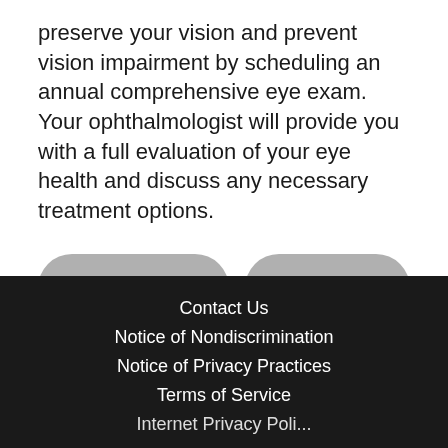preserve your vision and prevent vision impairment by scheduling an annual comprehensive eye exam. Your ophthalmologist will provide you with a full evaluation of your eye health and discuss any necessary treatment options.
← Previous Story
Next Story →
Contact Us
Notice of Nondiscrimination
Notice of Privacy Practices
Terms of Service
Internet Privacy Policy